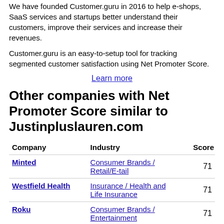We have founded Customer.guru in 2016 to help e-shops, SaaS services and startups better understand their customers, improve their services and increase their revenues.
Customer.guru is an easy-to-setup tool for tracking segmented customer satisfaction using Net Promoter Score.
Learn more
Other companies with Net Promoter Score similar to Justinpluslauren.com
| Company | Industry | Score |
| --- | --- | --- |
| Minted | Consumer Brands / Retail/E-tail | 71 |
| Westfield Health | Insurance / Health and Life Insurance | 71 |
| Roku | Consumer Brands / Entertainment | 71 |
| Masergy |  |  |